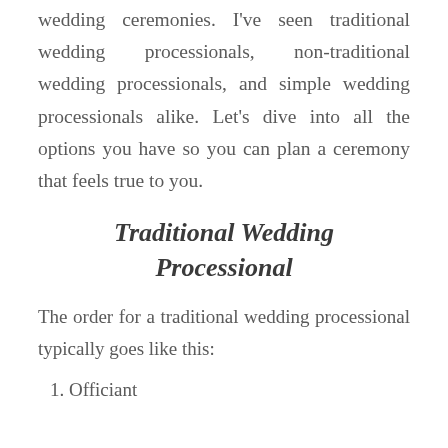wedding ceremonies. I've seen traditional wedding processionals, non-traditional wedding processionals, and simple wedding processionals alike. Let's dive into all the options you have so you can plan a ceremony that feels true to you.
Traditional Wedding Processional
The order for a traditional wedding processional typically goes like this:
1. Officiant